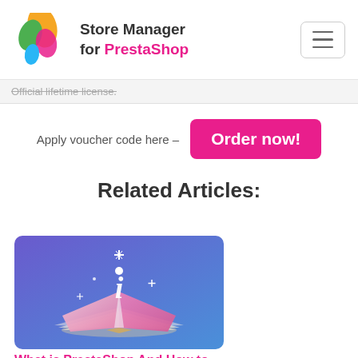Store Manager for PrestaShop
Official lifetime license.
Apply voucher code here –  Order now!
Related Articles:
[Figure (illustration): Open book with glowing italic i letter and sparkles on a purple-blue gradient background]
What is PrestaShop And How to